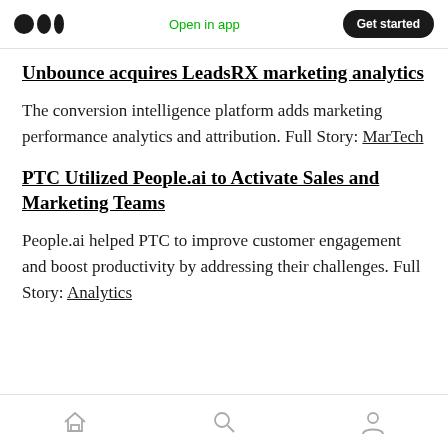Open in app | Get started
Unbounce acquires LeadsRX marketing analytics
The conversion intelligence platform adds marketing performance analytics and attribution. Full Story: MarTech
PTC Utilized People.ai to Activate Sales and Marketing Teams
People.ai helped PTC to improve customer engagement and boost productivity by addressing their challenges. Full Story: Analytics
Home | Search | Profile